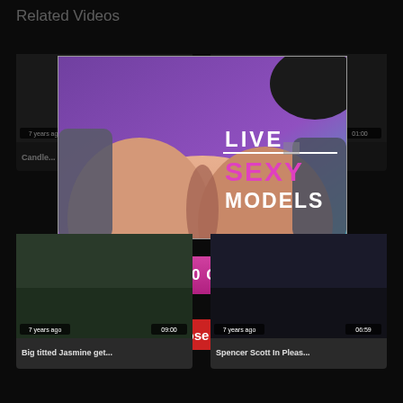Related Videos
[Figure (screenshot): Two video thumbnail cards at top row (partially visible): left thumbnail shows partial silhouette, labeled '7 years ago' and duration. Right card shows partial silhouette, labeled '7 years ago' and '01:00'. Titles: 'Candle...' and '...s A T...']
[Figure (screenshot): Pop-up modal overlay with an adult live cam advertisement image showing a person from behind with 'LIVE // SEXY MODELS' text overlay, a pink/magenta 'FREE 120 CREDITS' button, and a red 'Close [X]' button below.]
[Figure (screenshot): Two video thumbnail cards at bottom row: left card shows outdoor scene, labeled '7 years ago' and '09:00'. Right card dark scene, labeled '7 years ago' and '06:59'. Titles: 'Big titted Jasmine get...' and 'Spencer Scott In Pleas...']
Big titted Jasmine get...
Spencer Scott In Pleas...